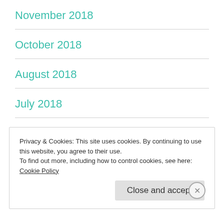November 2018
October 2018
August 2018
July 2018
May 2018
April 2018
Privacy & Cookies: This site uses cookies. By continuing to use this website, you agree to their use.
To find out more, including how to control cookies, see here: Cookie Policy
Close and accept